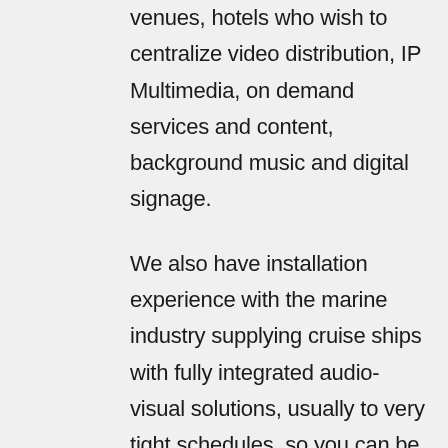venues, hotels who wish to centralize video distribution, IP Multimedia, on demand services and content, background music and digital signage.
We also have installation experience with the marine industry supplying cruise ships with fully integrated audio-visual solutions, usually to very tight schedules, so you can be confident you are choosing the right company for keeping to the plan.
EWP can provide you with: